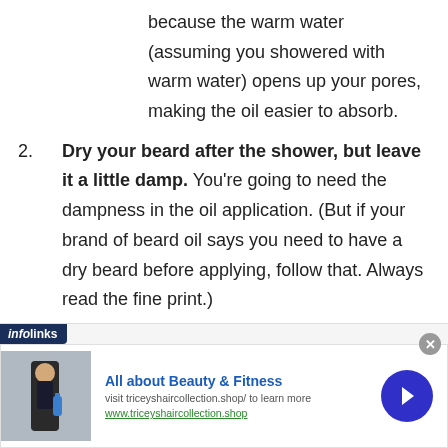because the warm water (assuming you showered with warm water) opens up your pores, making the oil easier to absorb.
2. Dry your beard after the shower, but leave it a little damp. You're going to need the dampness in the oil application. (But if your brand of beard oil says you need to have a dry beard before applying, follow that. Always read the fine print.)
[Figure (screenshot): Infolinks advertisement banner: 'All about Beauty & Fitness' with image of person holding water bottle, link to triceyhaircollection.shop, and a blue arrow button.]